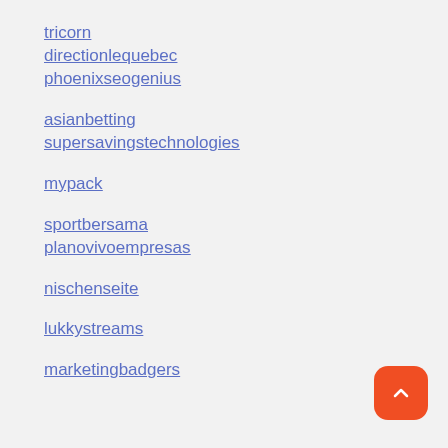tricorn
directionlequebec
phoenixseogenius
asianbetting
supersavingstechnologies
mypack
sportbersama
planovivoempresas
nischenseite
lukkystreams
marketingbadgers